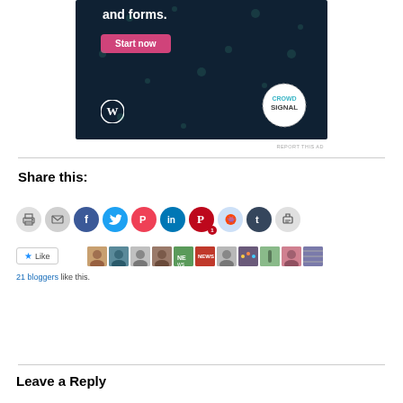[Figure (screenshot): Advertisement banner for Crowdsignal with WordPress logo, 'and forms.' text, pink 'Start now' button, and Crowdsignal logo on dark navy background.]
REPORT THIS AD
Share this:
[Figure (screenshot): Row of social share icon buttons: print, email, Facebook, Twitter, Pocket, LinkedIn, Pinterest (with badge 1), Reddit, Tumblr, print/share.]
[Figure (screenshot): Like button with star icon and row of blogger avatars]
21 bloggers like this.
Leave a Reply